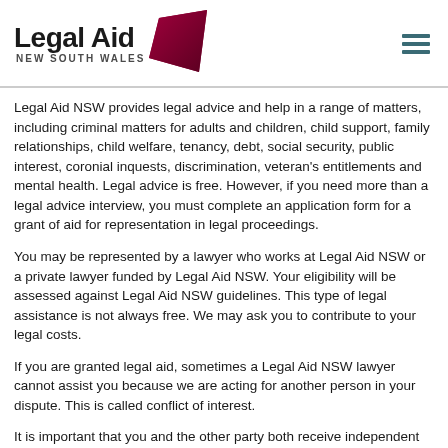[Figure (logo): Legal Aid NSW logo with dark red/maroon diamond/arrow shape on the right side, and hamburger menu icon top right]
Legal Aid NSW provides legal advice and help in a range of matters, including criminal matters for adults and children, child support, family relationships, child welfare, tenancy, debt, social security, public interest, coronial inquests, discrimination, veteran's entitlements and mental health. Legal advice is free. However, if you need more than a legal advice interview, you must complete an application form for a grant of aid for representation in legal proceedings.
You may be represented by a lawyer who works at Legal Aid NSW or a private lawyer funded by Legal Aid NSW. Your eligibility will be assessed against Legal Aid NSW guidelines. This type of legal assistance is not always free. We may ask you to contribute to your legal costs.
If you are granted legal aid, sometimes a Legal Aid NSW lawyer cannot assist you because we are acting for another person in your dispute. This is called conflict of interest.
It is important that you and the other party both receive independent legal advice. If a Legal Aid NSW lawyer is unable to help you because of a conflict of interest, we will arrange for a private lawyer to advise and represent you.